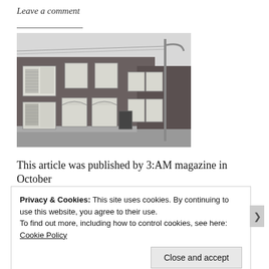Leave a comment
[Figure (photo): Black and white photograph of a row of brick terraced houses on a street, with roller shutters and arched window details, a street lamp visible on the right.]
This article was published by 3:AM magazine in October
Privacy & Cookies: This site uses cookies. By continuing to use this website, you agree to their use.
To find out more, including how to control cookies, see here: Cookie Policy
Close and accept